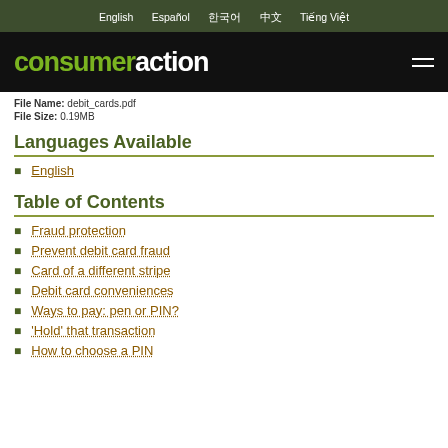English  Español  한국어  中文  Tiếng Việt
[Figure (logo): Consumer Action logo with green 'consumer' and white 'action' text on black background, with hamburger menu icon]
File Name: debit_cards.pdf
File Size: 0.19MB
Languages Available
English
Table of Contents
Fraud protection
Prevent debit card fraud
Card of a different stripe
Debit card conveniences
Ways to pay: pen or PIN?
'Hold' that transaction
How to choose a PIN